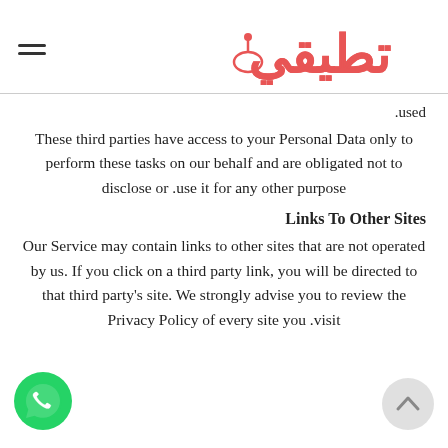تطيقي (logo) with hamburger menu
.used
These third parties have access to your Personal Data only to perform these tasks on our behalf and are obligated not to disclose or use it for any other purpose.
Links To Other Sites
Our Service may contain links to other sites that are not operated by us. If you click on a third party link, you will be directed to that third party's site. We strongly advise you to review the Privacy Policy of every site you visit.